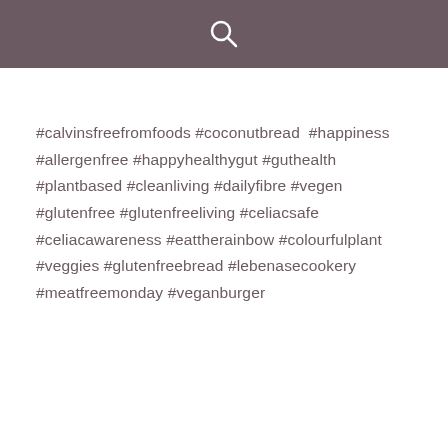[Figure (other): Search icon (magnifying glass) on dark mauve/purple header bar]
#calvinsfreefromfoods #coconutbread #happiness #allergenfree #happyhealthygut #guthealth #plantbased #cleanliving #dailyfibre #vegen #glutenfree #glutenfreeliving #celiacsafe #celiacawareness #eattherainbow #colourfulplant #veggies #glutenfreebread #lebenasecookery #meatfreemonday #veganburger